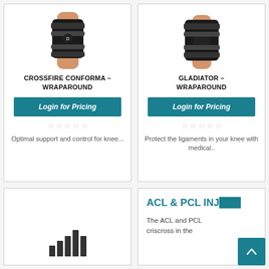[Figure (photo): Knee brace product photo - Crossfire Conforma Wraparound]
CROSSFIRE CONFORMA – WRAPAROUND
Login for Pricing
Optimal support and control for knee...
[Figure (photo): Knee brace product photo - Gladiator Wraparound]
GLADIATOR – WRAPAROUND
Login for Pricing
Protect the ligaments in your knee with medical..
[Figure (bar-chart): Bar chart icon placeholder in bottom-left card]
ACL & PCL INJURY
The ACL and PCL criscross in the